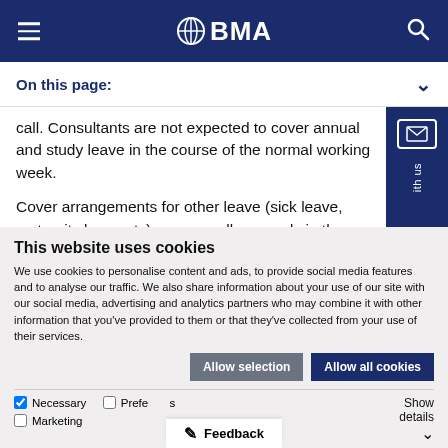BMA website header navigation
On this page:
call. Consultants are not expected to cover annual and study leave in the course of the normal working week.
Cover arrangements for other leave (sick leave, maternity leave etc) are normally agreed via th...
This website uses cookies
We use cookies to personalise content and ads, to provide social media features and to analyse our traffic. We also share information about your use of our site with our social media, advertising and analytics partners who may combine it with other information that you've provided to them or that they've collected from your use of their services.